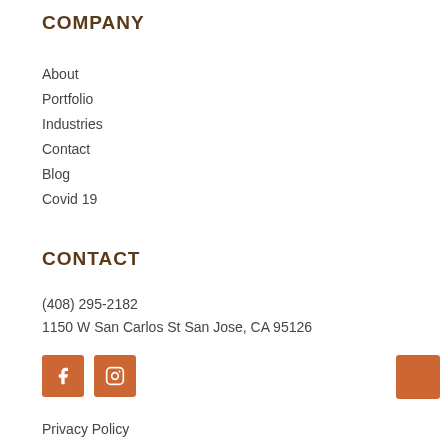COMPANY
About
Portfolio
Industries
Contact
Blog
Covid 19
CONTACT
(408) 295-2182
1150 W San Carlos St San Jose, CA 95126
[Figure (other): Social media icons: Facebook and Instagram buttons in orange, and a back-to-top orange button on the right]
Privacy Policy